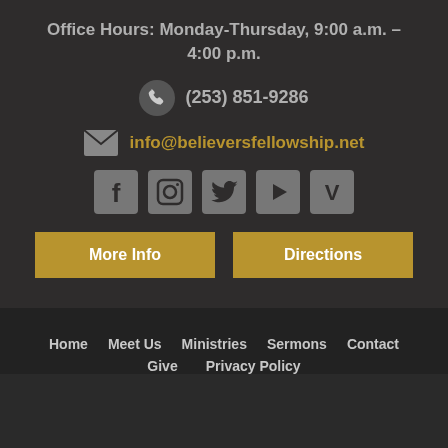Office Hours: Monday-Thursday, 9:00 a.m. – 4:00 p.m.
(253) 851-9286
info@believersfellowship.net
[Figure (infographic): Social media icons: Facebook, Instagram, Twitter, YouTube/Play, Vimeo]
More Info
Directions
Home  Meet Us  Ministries  Sermons  Contact  Give  Privacy Policy